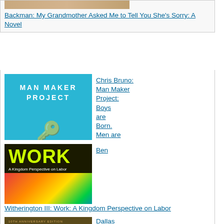[Figure (illustration): Partial book cover image (cropped at top), warm tan/brown tones]
Backman: My Grandmother Asked Me to Tell You She's Sorry: A Novel
[Figure (illustration): Book cover: Man Maker Project by Chris Bruno. Turquoise/cyan background with white text and a key illustration.]
Chris Bruno: Man Maker Project: Boys are Born. Men are Made.
[Figure (illustration): Book cover: WORK: A Kingdom Perspective on Labor by Ben Witherington III. Dark background with bright yellow-green title and colorful abstract art.]
Ben Witherington III: Work: A Kingdom Perspective on Labor
[Figure (illustration): Partial book cover: Renovation (10th Anniversary Edition), dark gold/brown tones]
Dallas Willard: